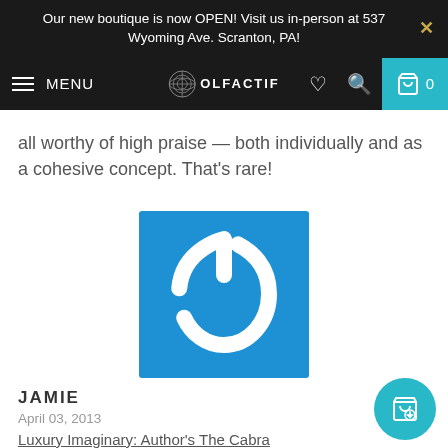Our new boutique is now OPEN! Visit us in-person at 537 Wyoming Ave. Scranton, PA!
all worthy of high praise — both individually and as a cohesive concept. That's rare!
[Figure (logo): Blue square with white 3D power button / on-off symbol icon]
JAMIE
April 03, 2013
Luxury Imaginary: Author's The Cabra